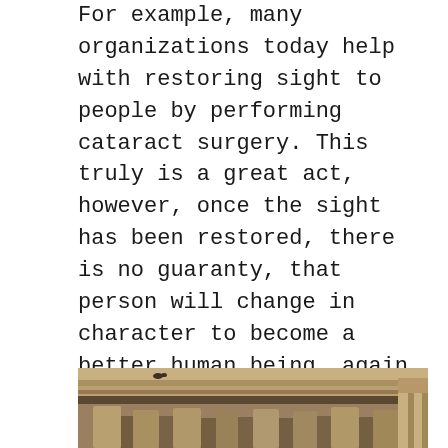For example, many organizations today help with restoring sight to people by performing cataract surgery. This truly is a great act, however, once the sight has been restored, there is no guaranty, that person will change in character to become a better human being, again, not that one is expected to be, nor should be the reason for a charitable act. However, if the intent is not only to serve the needy but also, be able to uplift a human, not becoming an enabler, then one should ask a simple question, has everyone whose sight was restored became humanitarians or saints or sages?
[Figure (photo): Photograph of an ancient stone temple structure showing a tiled roof overhang and stone columns beneath, in warm earth tones]